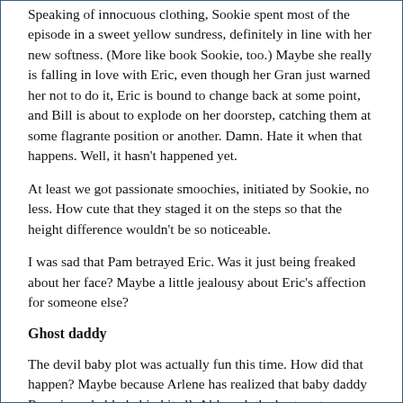Speaking of innocuous clothing, Sookie spent most of the episode in a sweet yellow sundress, definitely in line with her new softness. (More like book Sookie, too.) Maybe she really is falling in love with Eric, even though her Gran just warned her not to do it, Eric is bound to change back at some point, and Bill is about to explode on her doorstep, catching them at some flagrante position or another. Damn. Hate it when that happens. Well, it hasn't happened yet.
At least we got passionate smoochies, initiated by Sookie, no less. How cute that they staged it on the steps so that the height difference wouldn't be so noticeable.
I was sad that Pam betrayed Eric. Was it just being freaked about her face? Maybe a little jealousy about Eric's affection for someone else?
Ghost daddy
The devil baby plot was actually fun this time. How did that happen? Maybe because Arlene has realized that baby daddy Rene is probably behind it all. Although the best part was Tara's horrendous mother and new stepdaddy prancing around the Bellefleur abode with burning sage unsuccessfully evicting evil from the corners. (Maybe they should try salt in the doorways .)